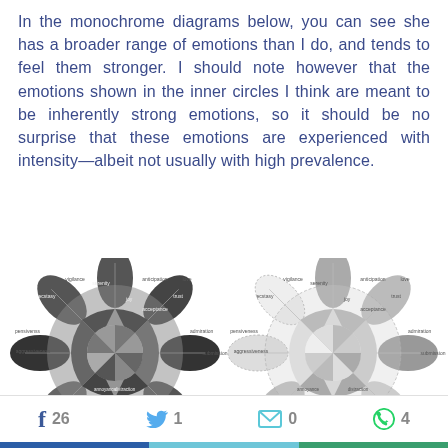In the monochrome diagrams below, you can see she has a broader range of emotions than I do, and tends to feel them stronger. I should note however that the emotions shown in the inner circles I think are meant to be inherently strong emotions, so it should be no surprise that these emotions are experienced with intensity—albeit not usually with high prevalence.
[Figure (infographic): Two monochrome radar/flower-style emotion wheel diagrams side by side, showing emotional ranges with labels such as optimism, love, serenity, joy, acceptance, trust, submission, apprehension, fear, awe, distraction, surprise, sadness, grief, boredom, disgust, loathing, anger, rage, annoyance, contempt, vigilance, anticipation, ecstasy, admiration. The left diagram is darker/more filled; the right is lighter with more dotted/outline areas.]
26  1  0  4